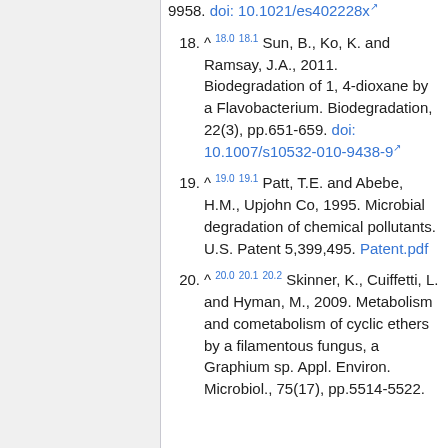9958. doi: 10.1021/es402228x
18. ^ 18.0 18.1 Sun, B., Ko, K. and Ramsay, J.A., 2011. Biodegradation of 1, 4-dioxane by a Flavobacterium. Biodegradation, 22(3), pp.651-659. doi: 10.1007/s10532-010-9438-9
19. ^ 19.0 19.1 Patt, T.E. and Abebe, H.M., Upjohn Co, 1995. Microbial degradation of chemical pollutants. U.S. Patent 5,399,495. Patent.pdf
20. ^ 20.0 20.1 20.2 Skinner, K., Cuiffetti, L. and Hyman, M., 2009. Metabolism and cometabolism of cyclic ethers by a filamentous fungus, a Graphium sp. Appl. Environ. Microbiol., 75(17), pp.5514-5522.